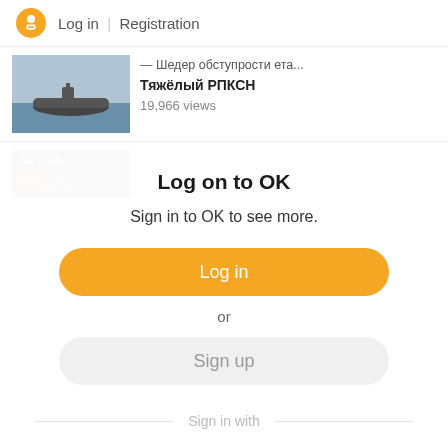Log in | Registration
[Figure (screenshot): Video thumbnail of submarine, partially cropped]
— Шедер обступрости ета. Тяжёлый РПКСН
19,966 views
[Figure (screenshot): Second video thumbnail, dark/blue, partially visible]
Log on to OK
Sign in to OK to see more.
Log in
or
Sign up
Sign in with
[Figure (logo): Social login icons: VK, Mail.ru, Google, Yandex, Apple]